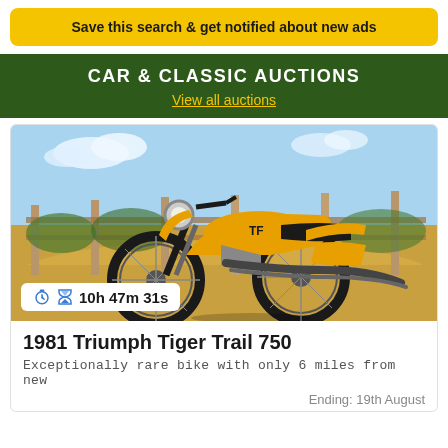Save this search & get notified about new ads
CAR & CLASSIC AUCTIONS
View all auctions
[Figure (photo): 1981 Triumph Tiger Trail 750 motorcycle, yellow color, parked outdoors with a fence in the background, timer badge showing 10h 47m 31s]
1981 Triumph Tiger Trail 750
Exceptionally rare bike with only 6 miles from new
Ending: 19th August